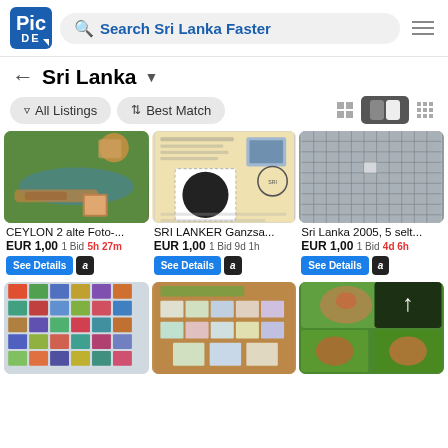Search Sri Lanka Faster
Sri Lanka
All Listings   Best Match
CEYLON 2 alte Foto-...
EUR 1,00 1 Bid 5h 27m
See Details
SRI LANKER Ganzsa...
EUR 1,00 1 Bid 9d 1h
See Details
Sri Lanka 2005, 5 selt...
EUR 1,00 1 Bid 4d 6h
See Details
[Figure (photo): Ceylon vintage photo postcard with stamps]
[Figure (photo): Sri Lanka philatelic cover with round black stamp]
[Figure (photo): Sri Lanka 2005 stamp collection in grid tray]
[Figure (photo): Mixed stamps collection sheet]
[Figure (photo): World wildlife stamps on cork board]
[Figure (photo): Sri Lanka bird stamps with upload overlay]